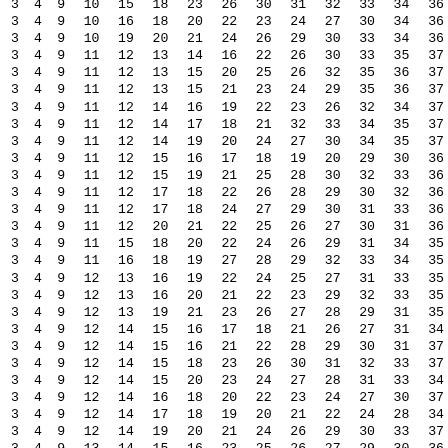| 3 | 4 | 9 | 10 | 15 | 18 | 23 | 26 | 30 | 31 | 32 | 33 | 34 | 36 |
| 3 | 4 | 9 | 10 | 16 | 18 | 20 | 22 | 23 | 24 | 27 | 30 | 34 | 36 |
| 3 | 4 | 9 | 10 | 19 | 20 | 21 | 24 | 26 | 29 | 30 | 33 | 34 | 36 |
| 3 | 4 | 9 | 11 | 12 | 13 | 14 | 16 | 22 | 26 | 30 | 33 | 35 | 37 |
| 3 | 4 | 9 | 11 | 12 | 13 | 15 | 20 | 25 | 26 | 32 | 35 | 36 | 37 |
| 3 | 4 | 9 | 11 | 12 | 13 | 15 | 21 | 23 | 24 | 29 | 35 | 36 | 37 |
| 3 | 4 | 9 | 11 | 12 | 14 | 16 | 19 | 22 | 23 | 26 | 32 | 34 | 37 |
| 3 | 4 | 9 | 11 | 12 | 14 | 17 | 18 | 21 | 32 | 33 | 34 | 35 | 37 |
| 3 | 4 | 9 | 11 | 12 | 14 | 19 | 20 | 24 | 27 | 30 | 34 | 35 | 37 |
| 3 | 4 | 9 | 11 | 12 | 15 | 16 | 17 | 18 | 19 | 20 | 29 | 30 | 36 |
| 3 | 4 | 9 | 11 | 12 | 15 | 19 | 21 | 25 | 28 | 30 | 32 | 33 | 36 |
| 3 | 4 | 9 | 11 | 12 | 17 | 18 | 22 | 26 | 28 | 29 | 30 | 32 | 36 |
| 3 | 4 | 9 | 11 | 12 | 17 | 18 | 24 | 27 | 29 | 30 | 31 | 33 | 36 |
| 3 | 4 | 9 | 11 | 12 | 20 | 21 | 22 | 25 | 26 | 27 | 30 | 31 | 36 |
| 3 | 4 | 9 | 11 | 15 | 18 | 20 | 22 | 24 | 26 | 29 | 31 | 34 | 35 |
| 3 | 4 | 9 | 11 | 16 | 18 | 19 | 27 | 28 | 29 | 32 | 33 | 34 | 35 |
| 3 | 4 | 9 | 12 | 13 | 16 | 19 | 22 | 24 | 25 | 27 | 31 | 33 | 35 |
| 3 | 4 | 9 | 12 | 13 | 16 | 20 | 21 | 22 | 23 | 29 | 32 | 33 | 35 |
| 3 | 4 | 9 | 12 | 13 | 19 | 21 | 23 | 26 | 27 | 28 | 29 | 31 | 35 |
| 3 | 4 | 9 | 12 | 14 | 15 | 16 | 17 | 18 | 21 | 26 | 27 | 31 | 34 |
| 3 | 4 | 9 | 12 | 14 | 15 | 16 | 21 | 22 | 28 | 29 | 30 | 31 | 37 |
| 3 | 4 | 9 | 12 | 14 | 15 | 18 | 23 | 26 | 30 | 31 | 32 | 33 | 37 |
| 3 | 4 | 9 | 12 | 14 | 15 | 20 | 23 | 24 | 27 | 28 | 31 | 33 | 34 |
| 3 | 4 | 9 | 12 | 14 | 16 | 18 | 20 | 22 | 23 | 24 | 27 | 30 | 37 |
| 3 | 4 | 9 | 12 | 14 | 17 | 18 | 19 | 20 | 21 | 22 | 24 | 28 | 34 |
| 3 | 4 | 9 | 12 | 14 | 19 | 20 | 21 | 24 | 26 | 29 | 30 | 33 | 37 |
| 3 | 4 | 9 | 13 | 14 | 15 | 16 | 23 | 25 | 26 | 27 | 29 | 30 | 36 |
| 3 | 4 | 9 | 13 | 14 | 15 | 17 | 20 | 22 | 27 | 30 | 32 | 33 | 36 |
| 3 | 4 | 9 | 13 | 14 | 16 | 17 | 19 | 24 | 26 | 28 | 30 | 31 | 36 |
| 3 | 4 | 9 | 13 | 14 | 19 | 20 | 23 | 25 | 29 | 30 | 31 | 32 | 36 |
| 3 | 4 | 9 | 13 | 14 | 22 | 23 | 24 | 25 | 28 | 29 | 30 | 33 | 36 |